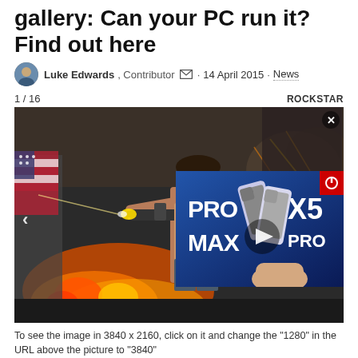gallery: Can your PC run it? Find out here
Luke Edwards, Contributor ✉ · 14 April 2015 · News
1 / 16   ROCKSTAR
[Figure (screenshot): GTA V PC screenshot showing a character firing a gun amid fire and explosions, with an overlaid advertisement for PRO MAX X5 PRO phones showing a play button]
To see the image in 3840 x 2160, click on it and change the "1280" in the URL above the picture to "3840"